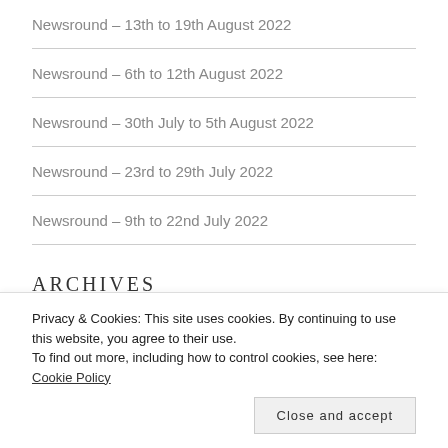Newsround – 13th to 19th August 2022
Newsround – 6th to 12th August 2022
Newsround – 30th July to 5th August 2022
Newsround – 23rd to 29th July 2022
Newsround – 9th to 22nd July 2022
ARCHIVES
August 2022
July 2022
Privacy & Cookies: This site uses cookies. By continuing to use this website, you agree to their use.
To find out more, including how to control cookies, see here: Cookie Policy
Close and accept